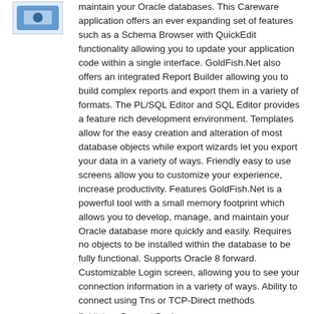maintain your Oracle databases. This Careware application offers an ever expanding set of features such as a Schema Browser with QuickEdit functionality allowing you to update your application code within a single interface. GoldFish.Net also offers an integrated Report Builder allowing you to build complex reports and export them in a variety of formats. The PL/SQL Editor and SQL Editor provides a feature rich development environment. Templates allow for the easy creation and alteration of most database objects while export wizards let you export your data in a variety of ways. Friendly easy to use screens allow you to customize your experience, increase productivity. Features GoldFish.Net is a powerful tool with a small memory footprint which allows you to develop, manage, and maintain your Oracle database more quickly and easily. Requires no objects to be installed within the database to be fully functional. Supports Oracle 8 forward. Customizable Login screen, allowing you to see your connection information in a variety of ways. Ability to connect using Tns or TCP-Direct methods
Publisher: Concept Geek
Last updated: July 9th, 2008
[Figure (screenshot): Bejeweled 3 game thumbnail showing colorful gems]
Bejeweled 3
Bejeweled has currently reached its 3rd edition, and it looks better than ever before. It now provides 8 interesting game